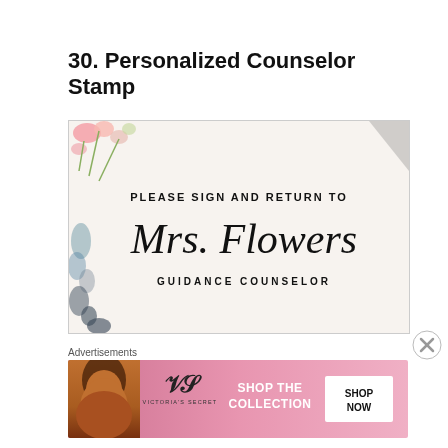30. Personalized Counselor Stamp
[Figure (photo): Photo of a personalized rubber stamp impression on white paper reading 'PLEASE SIGN AND RETURN TO Mrs. Flowers GUIDANCE COUNSELOR' with floral decorations on the left side]
Advertisements
[Figure (photo): Victoria's Secret advertisement banner: 'SHOP THE COLLECTION' with SHOP NOW button, pink gradient background with model photo]